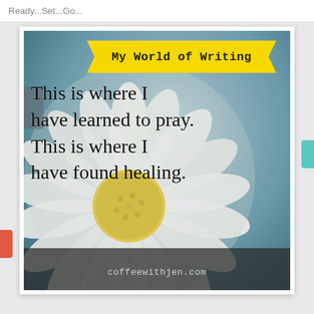Ready...Set...Go...
[Figure (illustration): A photograph of a white daisy flower with yellow center on a blurred blue-green background. Overlaid with a yellow banner ribbon reading 'My World of Writing', a handwritten-style quote 'This is where I have learned to pray. This is where I have found healing.' and website 'coffeewithjen.com' at the bottom.]
coffeewithjen.com